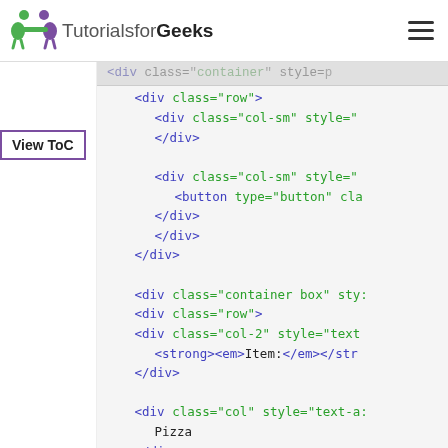[Figure (logo): TutorialsforGeeks logo with stylized green and purple person icon and text]
View ToC
<div class="row">
    <div class="col-sm" style="
    </div>
    <div class="col-sm" style="
        <button type="button" cla
    </div>
    </div>
</div>
<div class="container box" sty:
<div class="row">
<div class="col-2" style="text
    <strong><em>Item:</em></str
</div>
<div class="col" style="text-a:
    Pizza
</div>
</div>
<div class="row">